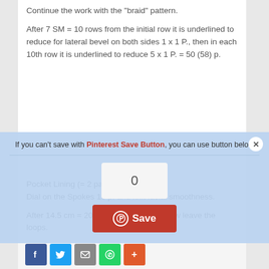Continue the work with the "braid" pattern.
After 7 SM = 10 rows from the initial row it is underlined to reduce for lateral bevel on both sides 1 x 1 P., then in each 10th row it is underlined to reduce 5 x 1 P. = 50 (58) p.
[Figure (screenshot): Pinterest Save Button overlay with count box showing 0 and a red Save button]
Pocket Lining (= 2 parts)
Dial on the Spokes 16 p. and knit facial smoothness.
After 14.5 cm = 20 rows from the initial row leave the loops.
Left Shelf
Dial on the Spokes 38 (42) p. and tie 1 seamy row of facial.
[Figure (screenshot): Social share bar with Facebook, Twitter, Email, WhatsApp, and More buttons]